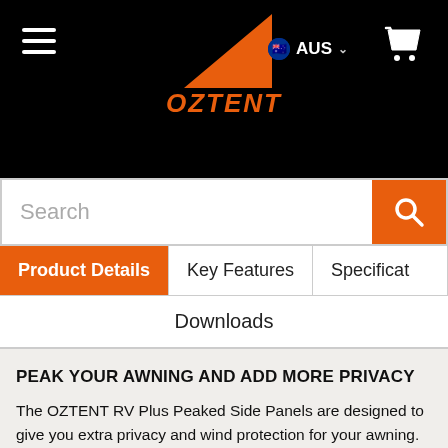[Figure (logo): OZTENT logo with orange triangle/shark fin shape above orange italic OZTENT text on black background]
[Figure (screenshot): AUS country selector with Australian flag icon and dropdown chevron]
[Figure (screenshot): Shopping cart icon top right on black header]
[Figure (screenshot): Search bar with orange search button]
[Figure (screenshot): Navigation tabs: Product Details (active/orange), Key Features, Specificat..., and Downloads row below]
[Figure (infographic): Orange compare/scales icon overlay on right side]
PEAK YOUR AWNING AND ADD MORE PRIVACY
The OZTENT RV Plus Peaked Side Panels are designed to give you extra privacy and wind protection for your awning. The OZTENT RV Plus Peaked Side Panels come as a set of two panels and help create a higher peak in the awning. This design allows for rain to easily run off the awning without lowering the front poles. They simply and easily zip to the awning and side of the tent. They are made from the same waterproof Ripstop polycotton canvas as the tent. The Peaked Side Panels also have a zippered canvas door and a zippered No-See-Um